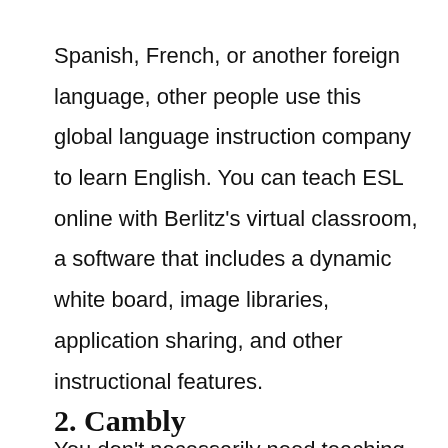Spanish, French, or another foreign language, other people use this global language instruction company to learn English. You can teach ESL online with Berlitz's virtual classroom, a software that includes a dynamic white board, image libraries, application sharing, and other instructional features.

You don't necessarily need teaching experience to teach English online with Berlitz. Learn more about joining this well-established language services company here.
2. Cambly